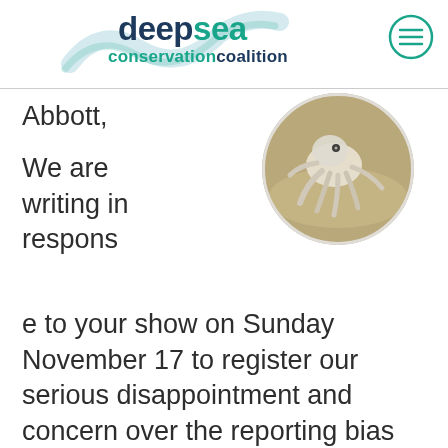deepsea conservation coalition
[Figure (photo): Circular cropped photo of a pale white octopus on a sandy deep sea floor]
Abbott,

We are writing in response to your show on Sunday November 17 to register our serious disappointment and concern over the reporting bias and errors, and to correct some of the most egregious misconceptions purveyed. The production departed from the usual high standards of 60...